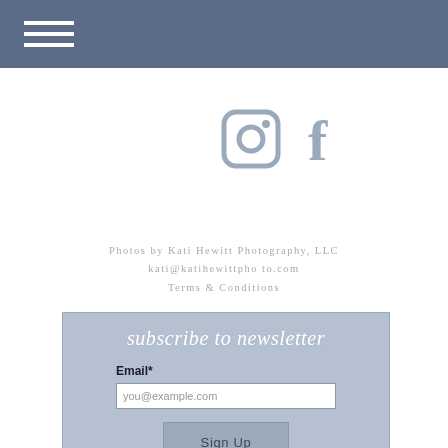≡ (hamburger menu)
[Figure (illustration): Instagram icon (camera) in muted blue-grey color]
[Figure (illustration): Facebook icon (f) in muted blue-grey color]
Photos by Kati Hewitt Photography, LLC
kati@katihewittpho to.com
Terms & Conditions
[Figure (other): Newsletter subscription box with script title 'subscribe to newsletter', email input field with placeholder 'you@example.com', and Sign Up button]